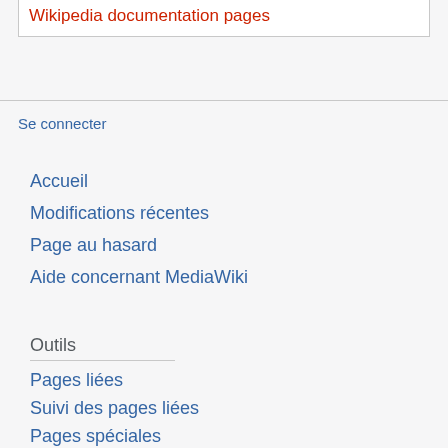Wikipedia documentation pages
Se connecter
Accueil
Modifications récentes
Page au hasard
Aide concernant MediaWiki
Outils
Pages liées
Suivi des pages liées
Pages spéciales
Version imprimable
Lien permanent